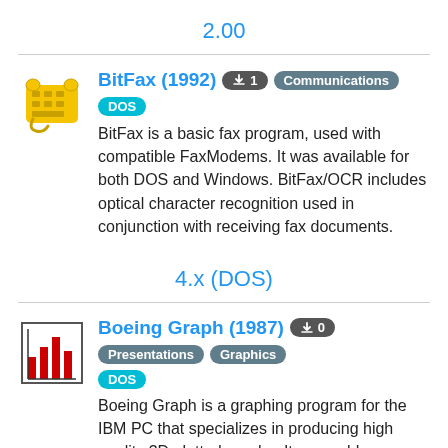2.00
BitFax (1992) ⬇1 Communications DOS
BitFax is a basic fax program, used with compatible FaxModems. It was available for both DOS and Windows. BitFax/OCR includes optical character recognition used in conjunction with receiving fax documents.
4.x (DOS)
Boeing Graph (1987) ⬇0 Presentations Graphics DOS
Boeing Graph is a graphing program for the IBM PC that specializes in producing high quality 3D plotted graphs. It was sold as a companion product to